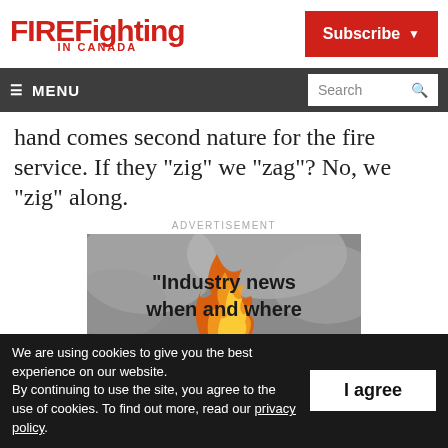FIREFighting IN CANADA
hand comes second nature for the fire service. If they “zig” we “zag”? No, we “zig” along.
ADVERTISEMENT
[Figure (photo): Advertisement image showing flames with text '“Industry news when and where']
We are using cookies to give you the best experience on our website.
By continuing to use the site, you agree to the use of cookies. To find out more, read our privacy policy.